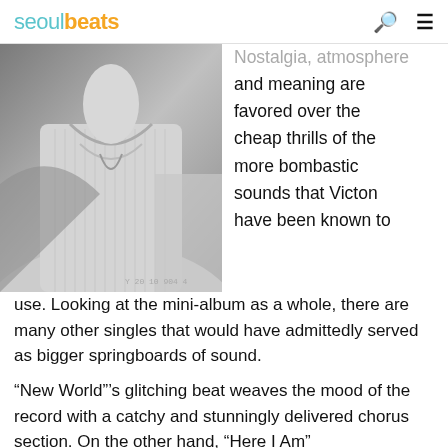seoulbeats
[Figure (photo): Black and white close-up photo of a person wearing a turtleneck sweater]
Nostalgia, atmosphere and meaning are favored over the cheap thrills of the more bombastic sounds that Victon have been known to use. Looking at the mini-album as a whole, there are many other singles that would have admittedly served as bigger springboards of sound.
“New World”’s glitching beat weaves the mood of the record with a catchy and stunningly delivered chorus section. On the other hand, “Here I Am”